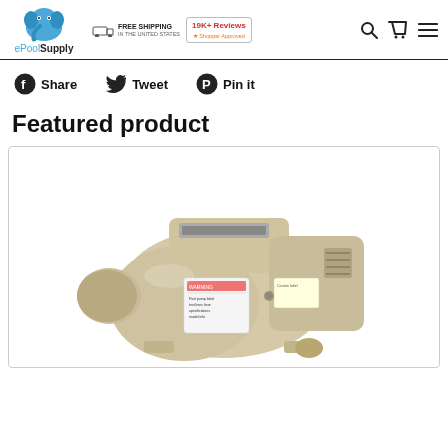[Figure (logo): ePoolSupply logo with blue elephant icon and text 'ePoolSupply']
FREE SHIPPING IN THE UNITED STATES | 19K+ Reviews (Shopper Approved)
Share  Tweet  Pin it
Featured product
[Figure (photo): A beige/tan pool pump (Pentair-style variable speed pump) shown from a 3/4 front angle on white background]